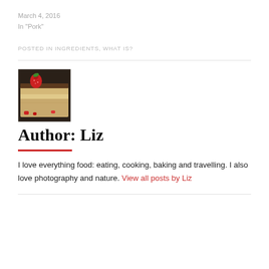March 4, 2016
In "Pork"
POSTED IN INGREDIENTS, WHAT IS?
[Figure (photo): A photo of a slice of cake with a strawberry on top and chocolate drizzle, on a dark plate.]
Author: Liz
I love everything food: eating, cooking, baking and travelling. I also love photography and nature. View all posts by Liz